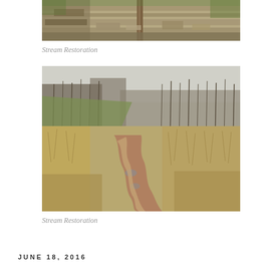[Figure (photo): Rocky hillside/cliff face with exposed sandstone rock layers and a wooden post in center. Green vegetation visible at top and sides.]
Stream Restoration
[Figure (photo): A small stream or creek winding through a meadow with tall dry grasses on both sides and bare deciduous trees in the background. The stream bed shows sandy/gravelly bottom.]
Stream Restoration
JUNE 18, 2016